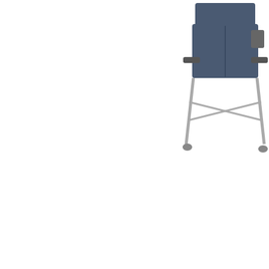[Figure (photo): Folding camp chair with armrests, dark blue/grey fabric, metal frame, partial view showing right side of chair]
Premium S...
| Qty. |  |
| --- | --- |
| 24+ |  |
More I...
▶ You May Also Like
[Figure (logo): LiquiMark logo - colorful script text]
Bright Spots Jumbo
[Figure (logo): LiquiMark logo - colorful script text]
Note Write...